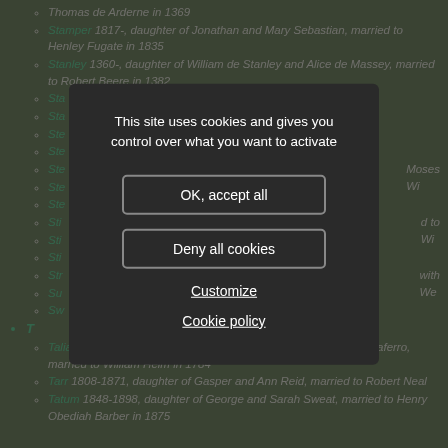Thomas de Arderne in 1369
Stamper 1817-, daughter of Jonathan and Mary Sebastian, married to Henley Fugate in 1835
Stanley 1360-, daughter of William de Stanley and Alice de Massey, married to Robert Beere in 1382
Sta...
Sta...
Ste...
Ste...
Ste... Moses Wi...
Ste...
Ste...
Sti... ...d to Wi...
Sti...
Sti...
Str... with We...
Su...
Sw...
T (letter heading)
Taliaferro 1766-1807, daughter of Francis and Jane Champe Taliaferro, married to William Helm in 1784
Tarr 1808-1871, daughter of Gasper and Ann Reid, married to Robert Neal
Tatum 1848-1898, daughter of George and Sarah Sweat, married to Henry Obediah Barber in 1875
This site uses cookies and gives you control over what you want to activate
OK, accept all
Deny all cookies
Customize
Cookie policy